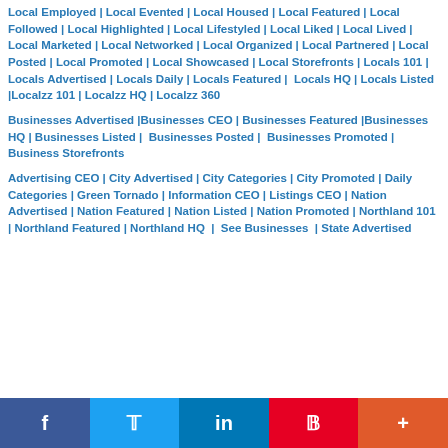Local Employed | Local Evented | Local Housed | Local Featured | Local Followed | Local Highlighted | Local Lifestyled | Local Liked | Local Lived | Local Marketed | Local Networked | Local Organized | Local Partnered | Local Posted | Local Promoted | Local Showcased | Local Storefronts | Locals 101 | Locals Advertised | Locals Daily | Locals Featured |  Locals HQ | Locals Listed |Localzz 101 | Localzz HQ | Localzz 360
Businesses Advertised |Businesses CEO | Businesses Featured |Businesses HQ | Businesses Listed |  Businesses Posted |  Businesses Promoted | Business Storefronts
Advertising CEO | City Advertised | City Categories | City Promoted | Daily Categories | Green Tornado | Information CEO | Listings CEO | Nation Advertised | Nation Featured | Nation Listed | Nation Promoted | Northland 101 | Northland Featured | Northland HQ  |  See Businesses  | State Advertised